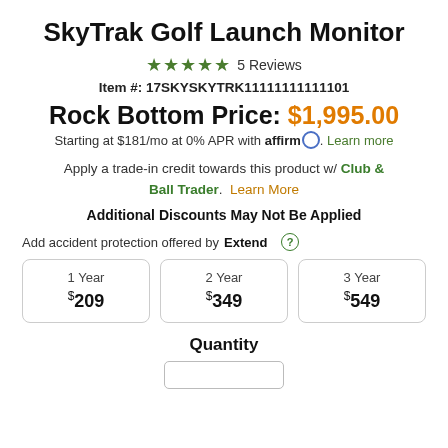SkyTrak Golf Launch Monitor
★★★★★ 5 Reviews
Item #: 17SKYSKYTRK11111111111101
Rock Bottom Price: $1,995.00
Starting at $181/mo at 0% APR with affirm. Learn more
Apply a trade-in credit towards this product w/ Club & Ball Trader. Learn More
Additional Discounts May Not Be Applied
Add accident protection offered by Extend ?
| 1 Year | 2 Year | 3 Year |
| --- | --- | --- |
| $209 | $349 | $549 |
Quantity